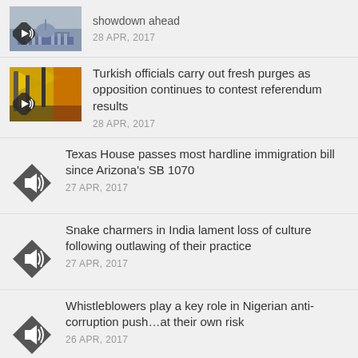showdown ahead
28 APR, 2017
Turkish officials carry out fresh purges as opposition continues to contest referendum results
28 APR, 2017
Texas House passes most hardline immigration bill since Arizona's SB 1070
27 APR, 2017
Snake charmers in India lament loss of culture following outlawing of their practice
27 APR, 2017
Whistleblowers play a key role in Nigerian anti-corruption push…at their own risk
26 APR, 2017